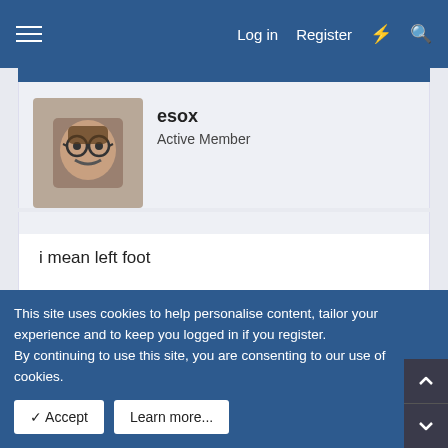Log in  Register
[Figure (photo): Avatar of user esox: person with glasses and mustache]
esox
Active Member
i mean left foot
Sep 12, 2003  #9
[Figure (photo): Avatar of user Paul: photo of a dark-colored car in a parking lot]
Paul
Active Member
This site uses cookies to help personalise content, tailor your experience and to keep you logged in if you register.
By continuing to use this site, you are consenting to our use of cookies.